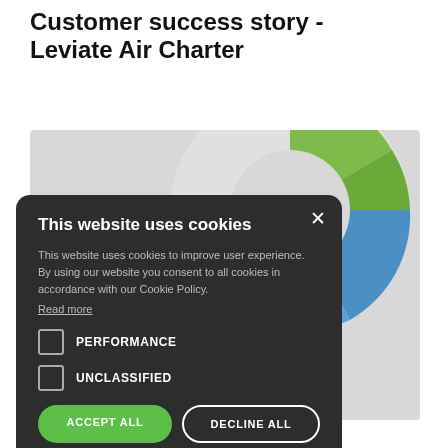Customer success story - Leviate Air Charter
[Figure (screenshot): Cookie consent dialog overlay on a webpage showing a partial pie chart in the background. Dialog has title 'This website uses cookies', explanatory text, checkboxes for PERFORMANCE and UNCLASSIFIED, ACCEPT ALL and DECLINE ALL buttons, SHOW DETAILS option, and 'POWERED BY COOKIE-SCRIPT' footer.]